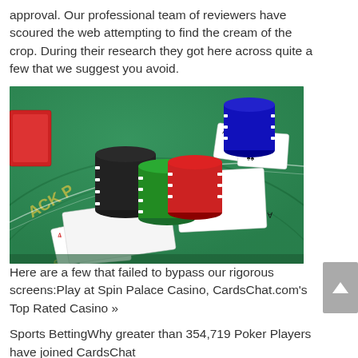approval. Our professional team of reviewers have scoured the web attempting to find the cream of the crop. During their research they got here across quite a few that we suggest you avoid.
[Figure (photo): Close-up photo of a blackjack table with stacks of poker chips (black, green, red, blue/white) and playing cards on a green felt surface with casino table markings visible.]
Here are a few that failed to bypass our rigorous screens:Play at Spin Palace Casino, CardsChat.com's Top Rated Casino »
Sports BettingWhy greater than 354,719 Poker Players have joined CardsChat